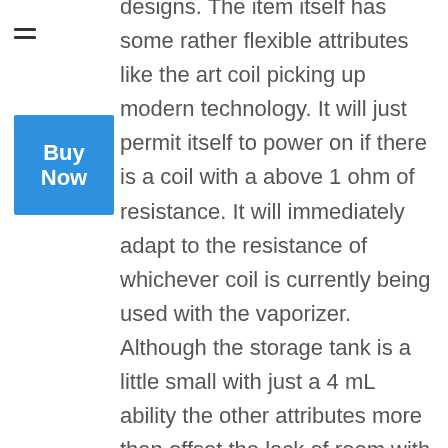[Figure (other): Hamburger menu icon (three horizontal lines)]
[Figure (other): Blue 'Buy Now' button]
designs. The item itself has some rather flexible attributes like the art coil picking up modern technology. It will just permit itself to power on if there is a coil with a above 1 ohm of resistance. It will immediately adapt to the resistance of whichever coil is currently being used with the vaporizer. Although the storage tank is a little small with just a 4 mL ability the other attributes more than offset the lack of room with this rather generous item.